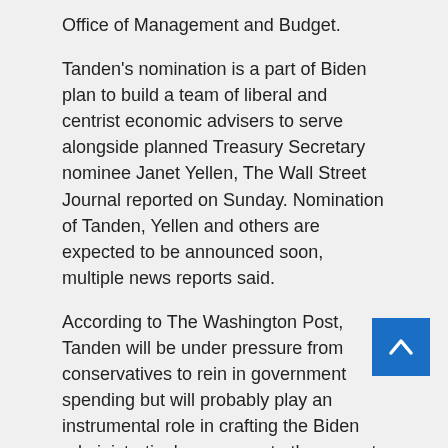Office of Management and Budget.
Tanden's nomination is a part of Biden plan to build a team of liberal and centrist economic advisers to serve alongside planned Treasury Secretary nominee Janet Yellen, The Wall Street Journal reported on Sunday. Nomination of Tanden, Yellen and others are expected to be announced soon, multiple news reports said.
According to The Washington Post, Tanden will be under pressure from conservatives to rein in government spending but will probably play an instrumental role in crafting the Biden administration's response to the current economic downturn.
She was a close ally of Hillary Clinton, the former secretary of state and the 2016 Democratic presidential candidate, and helped pass the